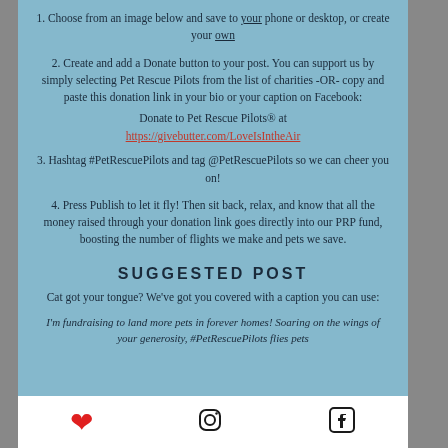1. Choose from an image below and save to your phone or desktop, or create your own
2. Create and add a Donate button to your post. You can support us by simply selecting Pet Rescue Pilots from the list of charities -OR- copy and paste this donation link in your bio or your caption on Facebook:
Donate to Pet Rescue Pilots® at
https://givebutter.com/LoveIsIntheAir
3. Hashtag #PetRescuePilots and tag @PetRescuePilots so we can cheer you on!
4. Press Publish to let it fly! Then sit back, relax, and know that all the money raised through your donation link goes directly into our PRP fund, boosting the number of flights we make and pets we save.
SUGGESTED POST
Cat got your tongue? We've got you covered with a caption you can use:
I'm fundraising to land more pets in forever homes! Soaring on the wings of your generosity, #PetRescuePilots flies pets